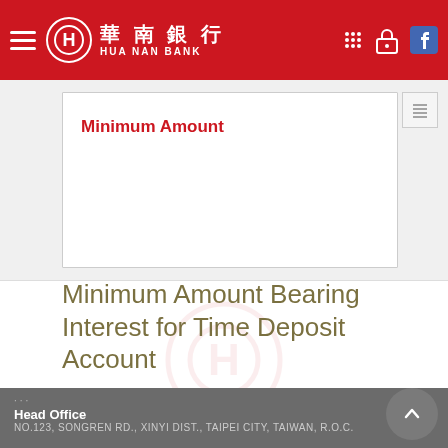HUA NAN BANK 華南銀行
Minimum Amount
Minimum Amount Bearing Interest for Time Deposit Account
USD 1,000 for USD account and the equivalent of USD 1,000 for all other currency accounts.
Head Office
NO.123, SONGREN RD., XINYI DIST., TAIPEI CITY, TAIWAN, R.O.C.